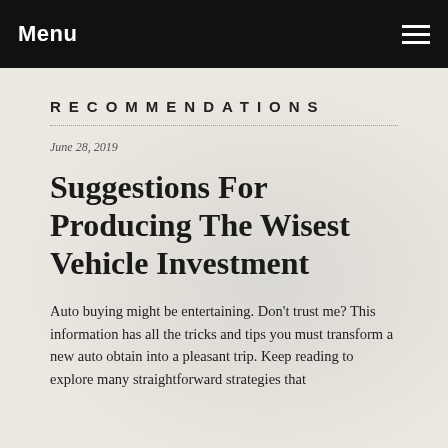Menu
RECOMMENDATIONS
June 28, 2019
Suggestions For Producing The Wisest Vehicle Investment
Auto buying might be entertaining. Don't trust me? This information has all the tricks and tips you must transform a new auto obtain into a pleasant trip. Keep reading to explore many straightforward strategies that